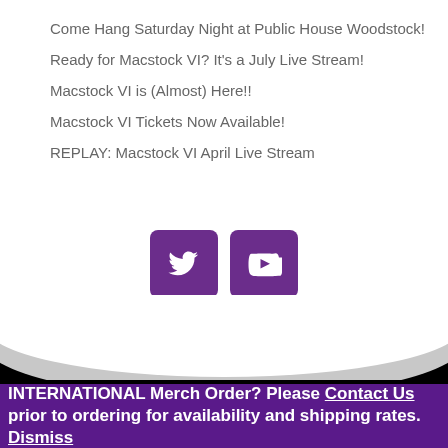Come Hang Saturday Night at Public House Woodstock!
Ready for Macstock VI? It's a July Live Stream!
Macstock VI is (Almost) Here!!
Macstock VI Tickets Now Available!
REPLAY: Macstock VI April Live Stream
[Figure (infographic): Two purple rounded square social media buttons: Twitter bird icon and YouTube play button icon]
[Figure (illustration): Curved dark/gray arc shape transitioning from white to black background]
[Figure (illustration): Three white outline icons on black background: circle with cross, wave/hills, rectangle]
INTERNATIONAL Merch Order? Please Contact Us prior to ordering for availability and shipping rates. Dismiss